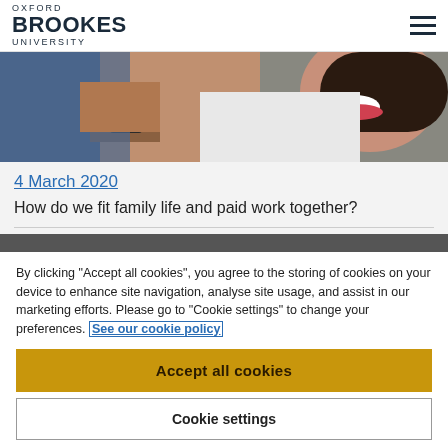Oxford Brookes University
[Figure (photo): Woman laughing, wearing jeans and a watch, lying back in a casual pose. Cropped close-up photo.]
4 March 2020
How do we fit family life and paid work together?
[Figure (photo): Dark grey strip, partial view of another image below the article card.]
By clicking "Accept all cookies", you agree to the storing of cookies on your device to enhance site navigation, analyse site usage, and assist in our marketing efforts. Please go to "Cookie settings" to change your preferences. See our cookie policy
Accept all cookies
Cookie settings